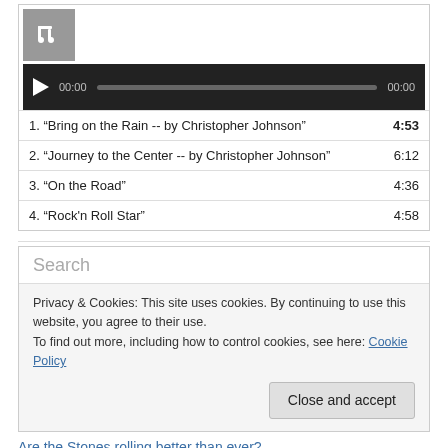[Figure (other): Music note icon (album art placeholder) — grey square with white music note]
[Figure (other): Audio player control bar — dark background, play button, time 00:00, scrubber bar, end time 00:00]
1. “Bring on the Rain -- by Christopher Johnson”  4:53
2. “Journey to the Center -- by Christopher Johnson”  6:12
3. “On the Road”  4:36
4. “Rock'n Roll Star”  4:58
Search
Privacy & Cookies: This site uses cookies. By continuing to use this website, you agree to their use.
To find out more, including how to control cookies, see here: Cookie Policy
Close and accept
Are the Stones rolling better than ever?